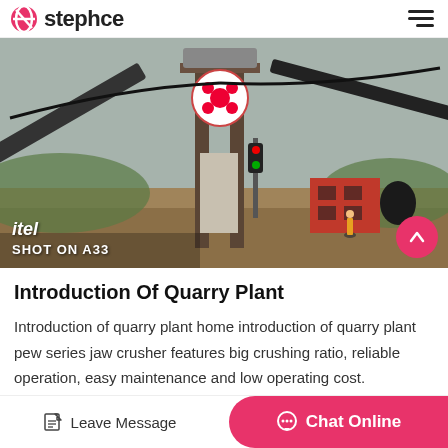stephce
[Figure (photo): Quarry plant site showing jaw crusher machinery with conveyor belts, metal framework, a red generator/container, and workers on a construction site. Photo watermark reads 'itel SHOT ON A33'.]
Introduction Of Quarry Plant
Introduction of quarry plant home introduction of quarry plant pew series jaw crusher features big crushing ratio, reliable operation, easy maintenance and low operating cost.
Leave Message  Chat Online